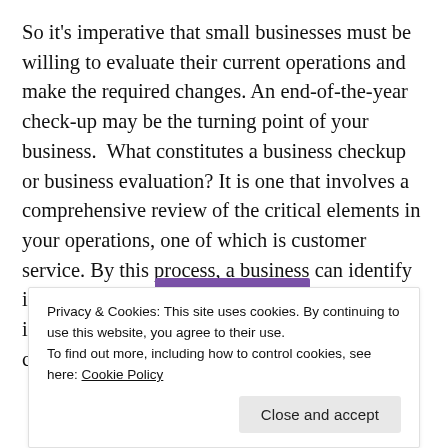So it's imperative that small businesses must be willing to evaluate their current operations and make the required changes. An end-of-the-year check-up may be the turning point of your business.  What constitutes a business checkup or business evaluation? It is one that involves a comprehensive review of the critical elements in your operations, one of which is customer service. By this process, a business can identify its strengths and its opportunities for improvement that can lead it to build a competitive advantage in the market.
[Figure (other): Partial view of colored bars (purple and cyan) from a chart partially visible at the bottom of the page, obscured by cookie banner.]
Privacy & Cookies: This site uses cookies. By continuing to use this website, you agree to their use.
To find out more, including how to control cookies, see here: Cookie Policy
[Close and accept]